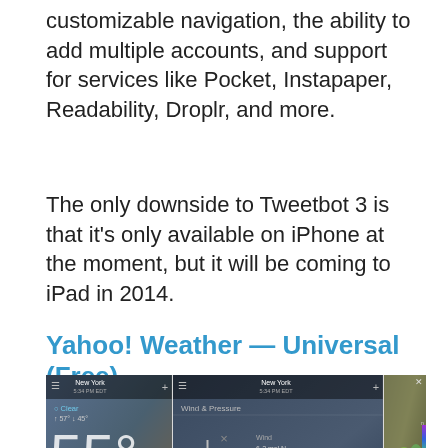customizable navigation, the ability to add multiple accounts, and support for services like Pocket, Instapaper, Readability, Droplr, and more.
The only downside to Tweetbot 3 is that it's only available on iPhone at the moment, but it will be coming to iPad in 2014.
Yahoo! Weather — Universal (Free)
[Figure (screenshot): Three screenshots of the Yahoo! Weather app showing: (1) main weather screen for New York with 55° temperature and forecast, (2) wind and pressure details with a windmill graphic and Sun & Moon section, (3) a radar map showing weather patterns.]
×